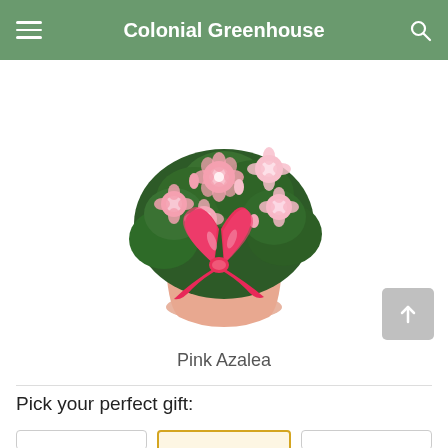Colonial Greenhouse
[Figure (photo): Pink azalea plant in a peach/pink pot with a large bright pink ribbon bow, surrounded by pink and white flowers and dark green foliage.]
Pink Azalea
Pick your perfect gift: